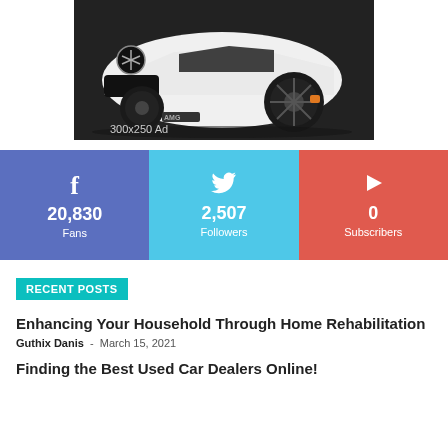[Figure (photo): White Mercedes-AMG sports car front view with dark background, labeled '300x250 Ad']
[Figure (infographic): Social media stats bar: Facebook 20,830 Fans, Twitter 2,507 Followers, YouTube 0 Subscribers]
RECENT POSTS
Enhancing Your Household Through Home Rehabilitation
Guthix Danis - March 15, 2021
Finding the Best Used Car Dealers Online!